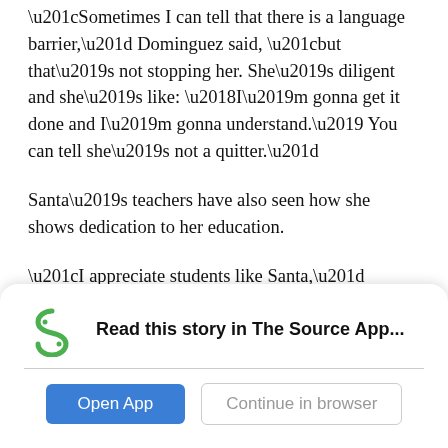“Sometimes I can tell that there is a language barrier,” Dominguez said, “but that’s not stopping her. She’s diligent and she’s like: ‘I’m gonna get it done and I’m gonna understand.’ You can tell she’s not a quitter.”
Santa’s teachers have also seen how she shows dedication to her education.
“I appreciate students like Santa,” Dominguez said. “I can relate to her, put myself in her shoes, and it’s refreshing to see students who want to be here and want to learn. You can tell that she’s a hundred percent genuine and she’s here because she wants to be and not because she’s forced to be.”
[Figure (logo): Student News Source logo - green S shape with 'STUDENT NEWS SOURCE' text below]
Read this story in The Source App...
Open App
Continue in browser